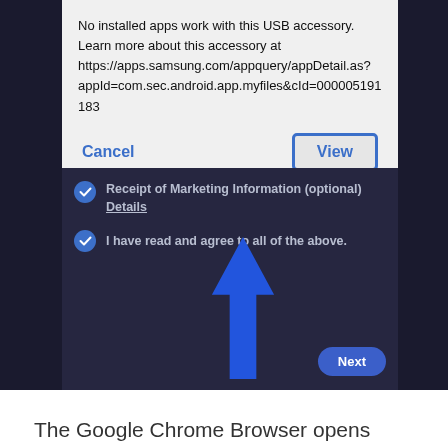[Figure (screenshot): Screenshot of a Samsung Android phone showing a USB accessory dialog box with 'No installed apps work with this USB accessory' message with a URL, Cancel and View buttons. Below the dialog are marketing consent checkboxes and a Next button. A large blue arrow annotation points upward to the View button.]
The Google Chrome Browser opens